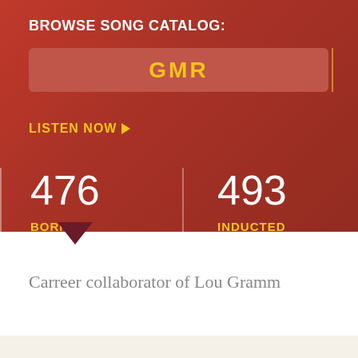BROWSE SONG CATALOG:
GMR
LISTEN NOW ▶
476
BORN
493
INDUCTED
Carreer collaborator of Lou Gramm